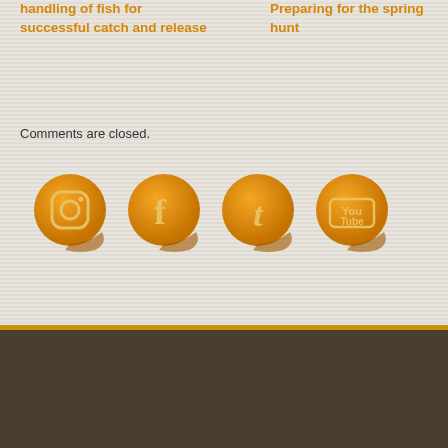handling of fish for successful catch and release
Preparing for the spring hunt
Comments are closed.
[Figure (illustration): Four orange sticker-style social media icons: Instagram, Facebook, Twitter, YouTube]
Copyright
Junior Pro Team © 2022 • Privacy Policy